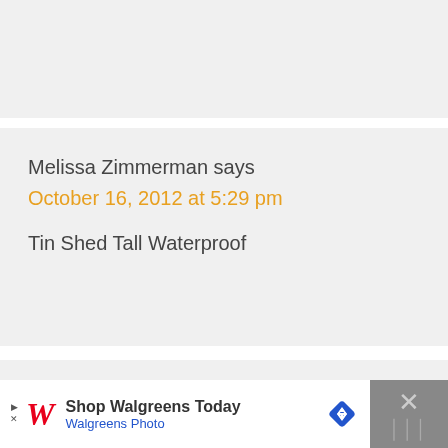Melissa Zimmerman says
October 16, 2012 at 5:29 pm
Tin Shed Tall Waterproof
Sheryl says
October 16, 2012 at 6:11 pm
[Figure (other): Walgreens advertisement banner: Shop Walgreens Today, Walgreens Photo, with Walgreens logo and blue navigation arrow icon, close button with X]